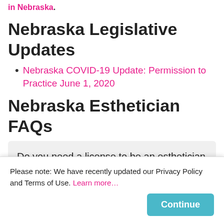in Nebraska.
Nebraska Legislative Updates
Nebraska COVID-19 Update: Permission to Practice June 1, 2020
Nebraska Esthetician FAQs
Do you need a license to be an esthetician in Nebraska?
How do I get my esthetician license in Nebraska?
How much do esthetician/skin care professionals earn in Nebraska?
How long does it take to complete...
Please note: We have recently updated our Privacy Policy and Terms of Use. Learn more…